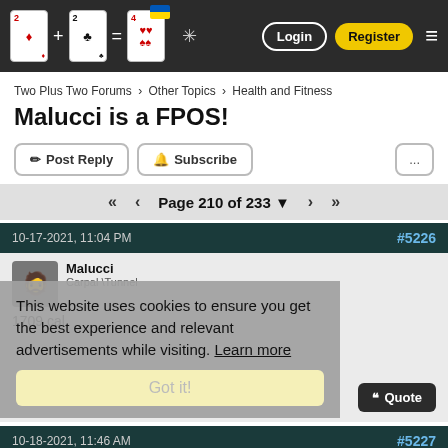Two Plus Two Forums navigation header with Login and Register buttons
Two Plus Two Forums › Other Topics › Health and Fitness
Malucci is a FPOS!
Post Reply   Subscribe   ...
Page 210 of 233
10-17-2021, 11:04 PM   #5226
Malucci
Carpal \Tunnel
1709 cal
This website uses cookies to ensure you get the best experience and relevant advertisements while visiting. Learn more
Got it!   Quote
10-18-2021, 11:46 AM   #5227